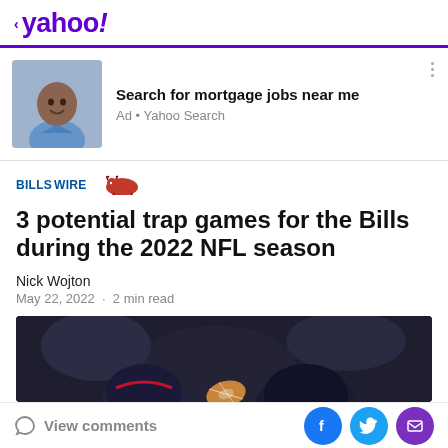< yahoo!
[Figure (infographic): Advertisement with photo of smiling man in blue shirt, headline: Search for mortgage jobs near me, Ad · Yahoo Search]
Search for mortgage jobs near me
Ad · Yahoo Search
BILLSWIRE
3 potential trap games for the Bills during the 2022 NFL season
Nick Wojton
May 22, 2022 · 2 min read
[Figure (photo): Dark background sports photo showing football helmets with Bills logo]
View comments